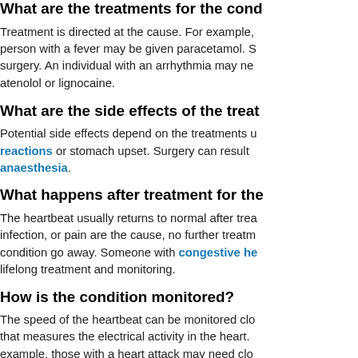What are the treatments for the cond...
Treatment is directed at the cause. For example, person with a fever may be given paracetamol. S surgery. An individual with an arrhythmia may ne atenolol or lignocaine.
What are the side effects of the treat...
Potential side effects depend on the treatments u reactions or stomach upset. Surgery can result anaesthesia.
What happens after treatment for the...
The heartbeat usually returns to normal after trea infection, or pain are the cause, no further treatm condition go away. Someone with congestive he lifelong treatment and monitoring.
How is the condition monitored?
The speed of the heartbeat can be monitored clo that measures the electrical activity in the heart. example, those with a heart attack may need clo
Author: Adam Brochert, MD
Reviewer: HealthAnswers Australia Medical Rev...
Editor: Dr David Taylor, Chief Medical Officer He...
Last Updated: 1/10/2001
Contributors
Potential conflict of interest information for review...